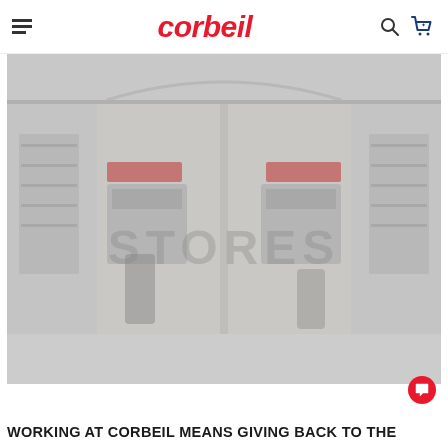corbeil
[Figure (photo): Interior photo of a Corbeil appliance retail store showing store displays and signage, rendered in grayscale/light tones with 'STORES' text overlay]
WORKING AT CORBEIL MEANS GIVING BACK TO THE